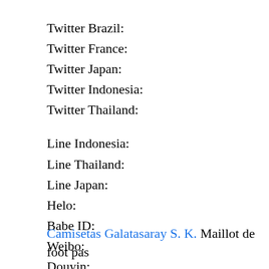Twitter Brazil:
Twitter France:
Twitter Japan:
Twitter Indonesia:
Twitter Thailand:
Line Indonesia:
Line Thailand:
Line Japan:
Helo:
Babe ID:
Weibo:
Douyin:
Toutiao:
Camisetas Galatasaray S. K. Maillot de foot pas